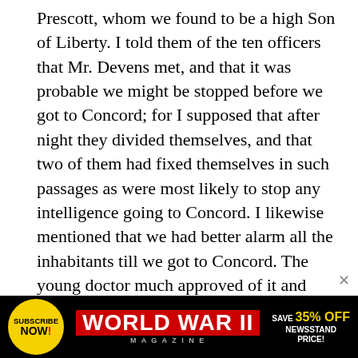Prescott, whom we found to be a high Son of Liberty. I told them of the ten officers that Mr. Devens met, and that it was probable we might be stopped before we got to Concord; for I supposed that after night they divided themselves, and that two of them had fixed themselves in such passages as were most likely to stop any intelligence going to Concord. I likewise mentioned that we had better alarm all the inhabitants till we got to Concord. The young doctor much approved of it and said he would stop with either of us, for the people between that and Concord knew him and would give the more credit to what we said.

We had got nearly half way. Mr. Daws and the doctor stopped to alarm the people of a house. I
[Figure (other): Advertisement banner for World War II Magazine. Yellow circle with 'SUBSCRIBE NOW!' text on left. Red background with 'WORLD WAR II MAGAZINE' in white bold text in center. 'SAVE 35% OFF NEWSSTAND PRICE!' text on right.]